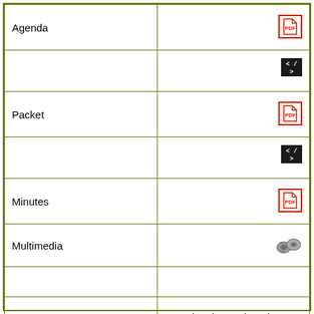| Label | Icon/Value |
| --- | --- |
| Agenda | [PDF icon] |
|  | [HTML icon] |
| Packet | [PDF icon] |
|  | [HTML icon] |
| Minutes | [PDF icon] |
| Multimedia | [film reel icon] |
|  |  |
| Meeting | Planning and Zoning Commission Meeting |
| Venue | Municipal Court Building, 540 Civic Blvd |
| Date | 3/7/2022 |
| Agenda | [PDF icon] |